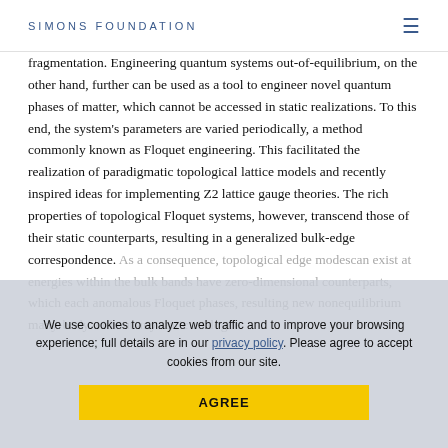SIMONS FOUNDATION
fragmentation. Engineering quantum systems out-of-equilibrium, on the other hand, further can be used as a tool to engineer novel quantum phases of matter, which cannot be accessed in static realizations. To this end, the system's parameters are varied periodically, a method commonly known as Floquet engineering. This facilitated the realization of paradigmatic topological lattice models and recently inspired ideas for implementing Z2 lattice gauge theories. The rich properties of topological Floquet systems, however, transcend those of their static counterparts, resulting in a generalized bulk-edge correspondence. As a consequence, topological edge modes can exist at energies within the bulk bands have zero-dimensional counterparts, which each anomalous Floquet phases, resulting new nonequilibrium many-body without any static analogue.
For Zoom details please